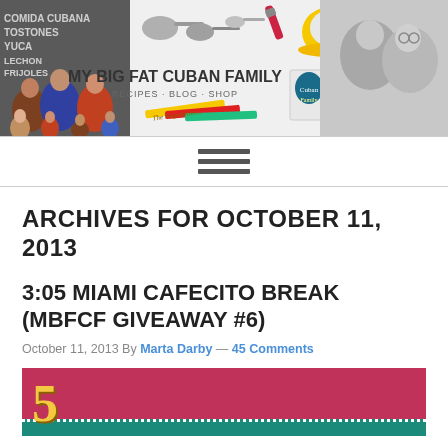[Figure (illustration): My Big Fat Cuban Family blog banner with family photo on the left, text 'MY BIG FAT CUBAN FAMILY RECIPES · BLOG · SHOP' in center, measuring spoons, pencils, lipstick, yellow coffee cup, book, and phone on right, black and white couple photo on far right.]
[Figure (other): Hamburger menu icon with three horizontal lines]
ARCHIVES FOR OCTOBER 11, 2013
3:05 MIAMI CAFECITO BREAK (MBFCF GIVEAWAY #6)
October 11, 2013 By Marta Darby — 45 Comments
[Figure (photo): Blog post featured image with pink/magenta background, large number 5 in gold, and teal decorative border at bottom with dotted white edge.]